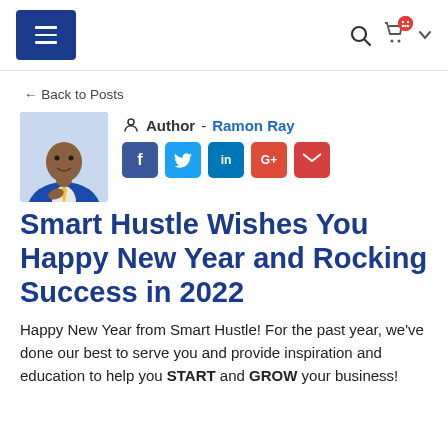Navigation bar with hamburger menu, search icon, cart icon, and dropdown chevron
← Back to Posts
[Figure (photo): Headshot photo of Ramon Ray, a man in a blue suit with his hand on his chest, smiling]
Author - Ramon Ray
Social icons: Facebook, Twitter, LinkedIn, Google+, Email
Smart Hustle Wishes You Happy New Year and Rocking Success in 2022
Happy New Year from Smart Hustle! For the past year, we've done our best to serve you and provide inspiration and education to help you START and GROW your business!